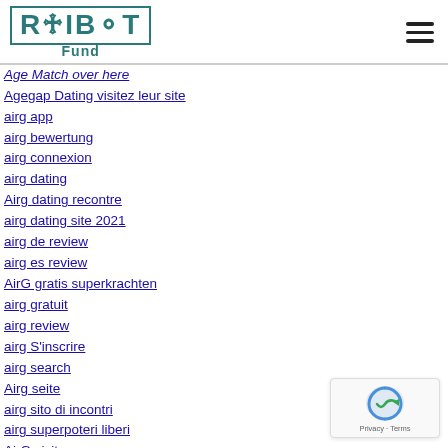ROIBOT Fund
Age Match over here
Agegap Dating visitez leur site
airg app
airg bewertung
airg connexion
airg dating
Airg dating recontre
airg dating site 2021
airg de review
airg es review
AirG gratis superkrachten
airg gratuit
airg review
airg S'inscrire
airg search
Airg seite
airg sito di incontri
airg superpoteri liberi
AirG visitors
airg-inceleme kayД±t olmak
Aisle acceso
Aisle app
aisle avis
Aisle dating recontre
aisle entrar